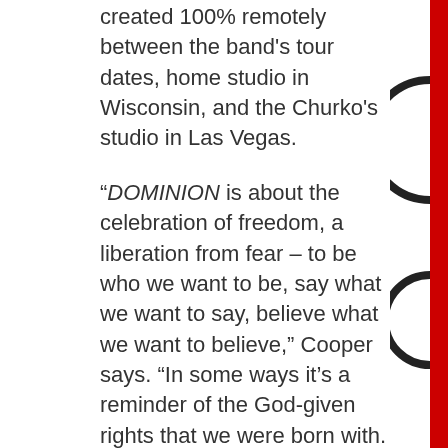created 100% remotely between the band's tour dates, home studio in Wisconsin, and the Churko's studio in Las Vegas.
“DOMINION is about the celebration of freedom, a liberation from fear – to be who we want to be, say what we want to say, believe what we want to believe,” Cooper says. “In some ways it’s a reminder of the God-given rights that we were born with. It’s time to regain some sort of control over our lives and not be a slave to fear. I hope this record is going to make people feel empowered, inspired, uplifted and want to rock their faces off!”
They’ll be doing just that when they headline Winter Jam 2022, kicking off on January 7 in